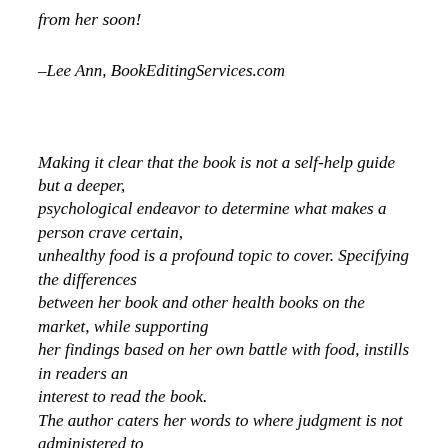from her soon!
–Lee Ann, BookEditingServices.com
Making it clear that the book is not a self-help guide but a deeper, psychological endeavor to determine what makes a person crave certain, unhealthy food is a profound topic to cover. Specifying the differences between her book and other health books on the market, while supporting her findings based on her own battle with food, instills in readers an interest to read the book. The author caters her words to where judgment is not administered to